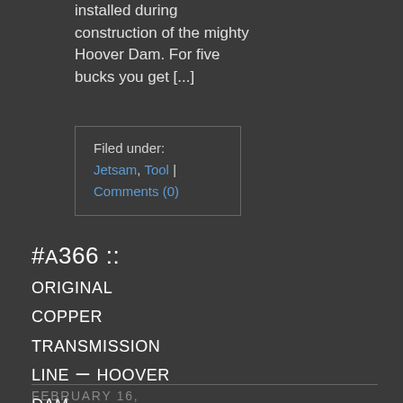installed during construction of the mighty Hoover Dam. For five bucks you get [...]
Filed under: Jetsam, Tool | Comments (0)
#A366 :: Original copper transmission line – Hoover Dam
FEBRUARY 16,